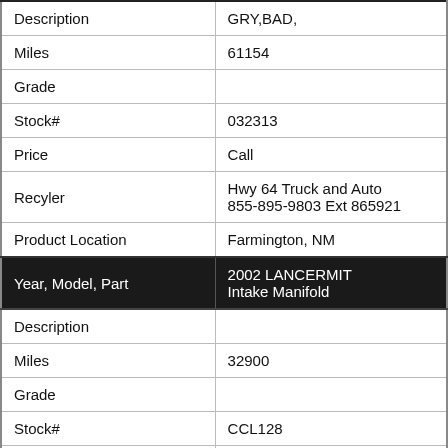| Description | GRY,BAD, |
| Miles | 61154 |
| Grade |  |
| Stock# | 032313 |
| Price | Call |
| Recyler | Hwy 64 Truck and Auto
855-895-9803 Ext 865921 |
| Product Location | Farmington, NM |
| Year, Model, Part | 2002 LANCERMIT
Intake Manifold |
| Description |  |
| Miles | 32900 |
| Grade |  |
| Stock# | CCL128 |
| Price | $35.00 |